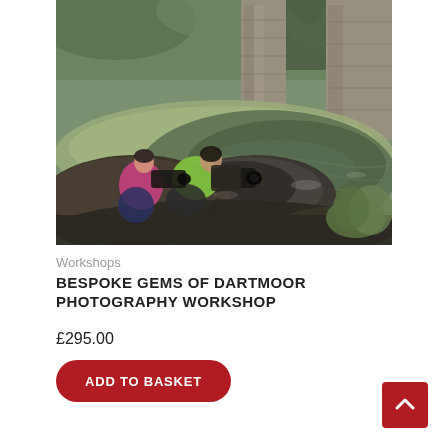[Figure (photo): Two photographers crouching on rocks beside a clear shallow river, photographing with cameras on tripods. Stone bridge arches visible in background. Outdoor nature scene on Dartmoor.]
Workshops
BESPOKE GEMS OF DARTMOOR PHOTOGRAPHY WORKSHOP
£295.00
ADD TO BASKET